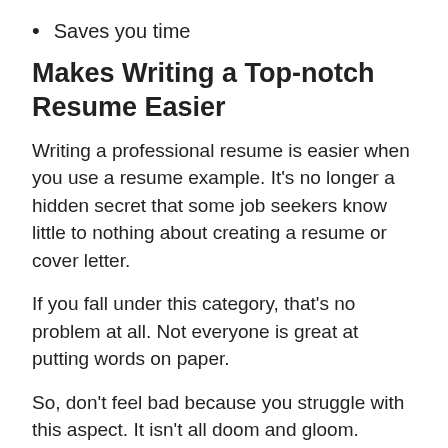Saves you time
Makes Writing a Top-notch Resume Easier
Writing a professional resume is easier when you use a resume example. It's no longer a hidden secret that some job seekers know little to nothing about creating a resume or cover letter.
If you fall under this category, that's no problem at all. Not everyone is great at putting words on paper.
So, don't feel bad because you struggle with this aspect. It isn't all doom and gloom.
Here's what you can do to make